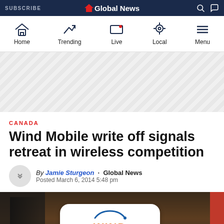SUBSCRIBE | Global News
[Figure (screenshot): Global News website navigation bar with Home, Trending, Live, Local, and Menu icons]
[Figure (screenshot): Advertising banner area with diagonal stripe pattern]
CANADA
Wind Mobile write off signals retreat in wireless competition
By Jamie Sturgeon · Global News
Posted March 6, 2014 5:48 pm
[Figure (photo): Photo of a Wind Mobile store front with the orange WIND logo on a white rounded rectangle sign]